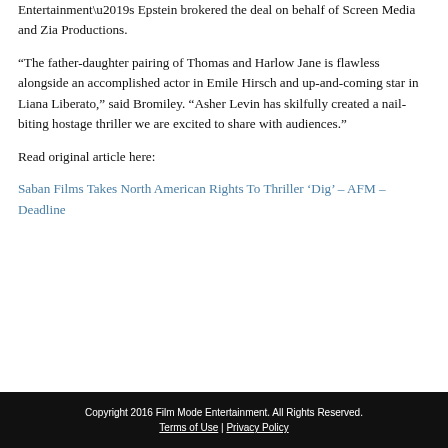Entertainment's Epstein brokered the deal on behalf of Screen Media and Zia Productions.
“The father-daughter pairing of Thomas and Harlow Jane is flawless alongside an accomplished actor in Emile Hirsch and up-and-coming star in Liana Liberato,” said Bromiley. “Asher Levin has skilfully created a nail-biting hostage thriller we are excited to share with audiences.”
Read original article here:
Saban Films Takes North American Rights To Thriller ‘Dig’ – AFM – Deadline
Copyright 2016 Film Mode Entertainment. All Rights Reserved. Terms of Use | Privacy Policy